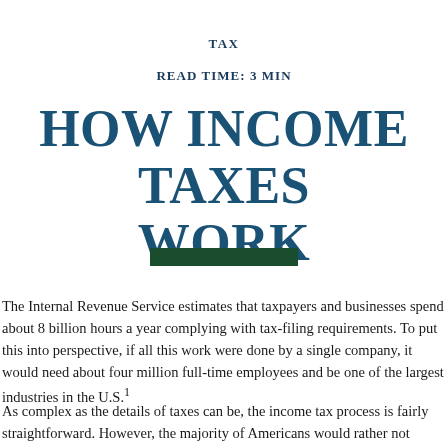TAX
READ TIME: 3 MIN
HOW INCOME TAXES WORK
The Internal Revenue Service estimates that taxpayers and businesses spend about 8 billion hours a year complying with tax-filing requirements. To put this into perspective, if all this work were done by a single company, it would need about four million full-time employees and be one of the largest industries in the U.S.¹
As complex as the details of taxes can be, the income tax process is fairly straightforward. However, the majority of Americans would rather not